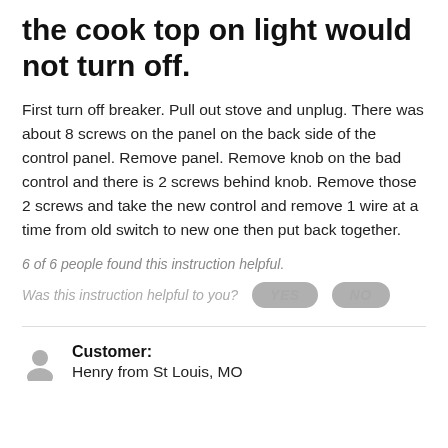the cook top on light would not turn off.
First turn off breaker. Pull out stove and unplug. There was about 8 screws on the panel on the back side of the control panel. Remove panel. Remove knob on the bad control and there is 2 screws behind knob. Remove those 2 screws and take the new control and remove 1 wire at a time from old switch to new one then put back together.
6 of 6 people found this instruction helpful.
Was this instruction helpful to you? YES NO
Customer: Henry from St Louis, MO